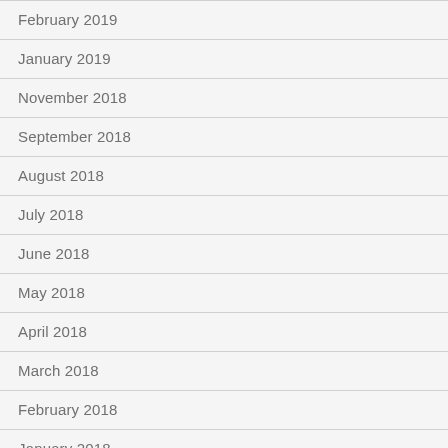February 2019
January 2019
November 2018
September 2018
August 2018
July 2018
June 2018
May 2018
April 2018
March 2018
February 2018
January 2018
December 2017